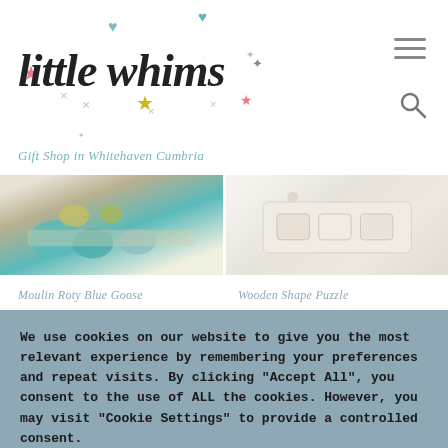[Figure (logo): Little Whims logo with decorative stars, hearts, and crosses in pink, teal, yellow, and grey colors]
Gift Shop in Whitehaven Cumbria
[Figure (photo): Two product images side by side: left shows Moulin Roty Blue Goose toy items in teal/yellow, right shows a Wooden Shape Puzzle in white/cream tones]
Moulin Roty Blue Goose
Wooden Shape Puzzle
We use cookies on our website to give you the most relevant experience by remembering your preferences and repeat visits. By clicking "Accept All", you consent to the use of ALL the cookies. However, you may visit "Cookie Settings" to provide a controlled consent.
Cookie Settings
Accept All